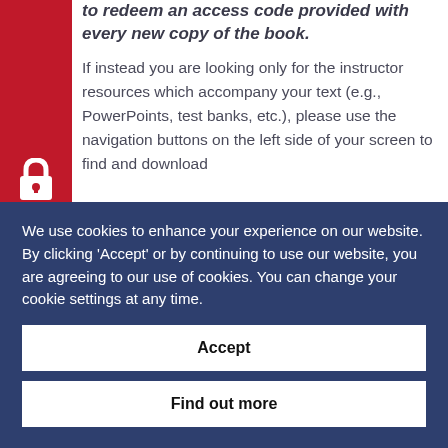to redeem an access code provided with every new copy of the book.
If instead you are looking only for the instructor resources which accompany your text (e.g., PowerPoints, test banks, etc.), please use the navigation buttons on the left side of your screen to find and download
We use cookies to enhance your experience on our website. By clicking 'Accept' or by continuing to use our website, you are agreeing to our use of cookies. You can change your cookie settings at any time.
Accept
Find out more